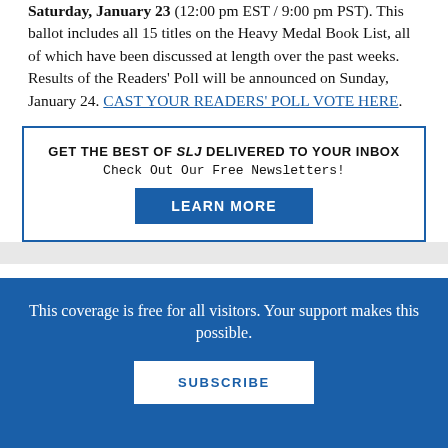Saturday, January 23 (12:00 pm EST / 9:00 pm PST). This ballot includes all 15 titles on the Heavy Medal Book List, all of which have been discussed at length over the past weeks. Results of the Readers' Poll will be announced on Sunday, January 24. CAST YOUR READERS' POLL VOTE HERE.
GET THE BEST OF SLJ DELIVERED TO YOUR INBOX
Check Out Our Free Newsletters!
LEARN MORE
This coverage is free for all visitors. Your support makes this possible.
SUBSCRIBE